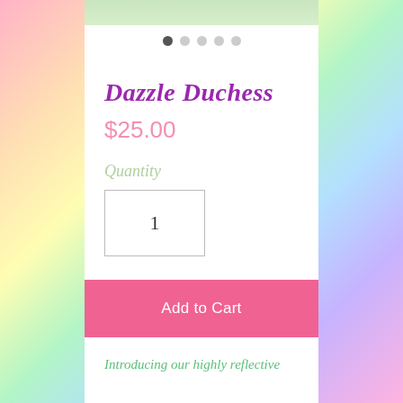[Figure (photo): Partial product image at top of card, showing green/plant element cropped at top edge]
[Figure (infographic): Navigation dots row: five dots, first one filled/dark, rest lighter gray, indicating image carousel position]
Dazzle Duchess
$25.00
Quantity
1
Add to Cart
Introducing our highly reflective